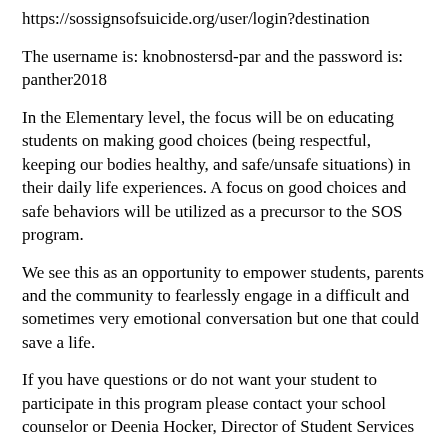https://sossignsofsuicide.org/user/login?destination
The username is: knobnostersd-par and the password is: panther2018
In the Elementary level, the focus will be on educating students on making good choices (being respectful, keeping our bodies healthy, and safe/unsafe situations) in their daily life experiences. A focus on good choices and safe behaviors will be utilized as a precursor to the SOS program.
We see this as an opportunity to empower students, parents and the community to fearlessly engage in a difficult and sometimes very emotional conversation but one that could save a life.
If you have questions or do not want your student to participate in this program please contact your school counselor or Deenia Hocker, Director of Student Services